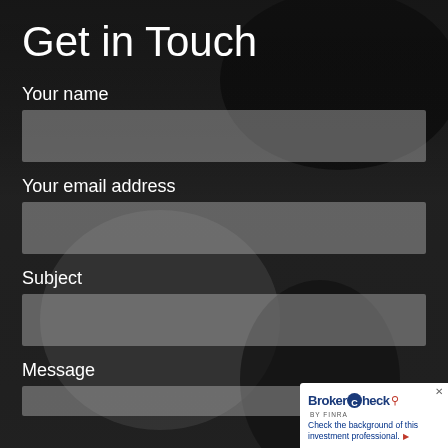Get in Touch
Your name
Your email address
Subject
Message
[Figure (other): BrokerCheck by FINRA badge widget in lower right corner with text: Check the background of this investment professional.]